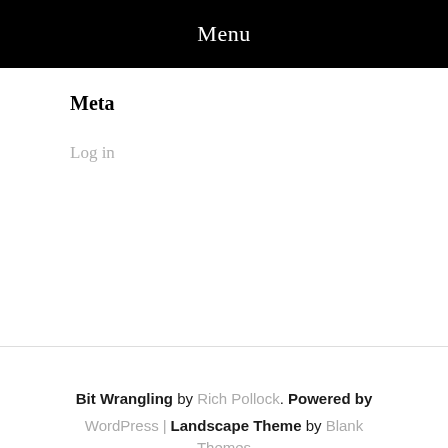Menu
Meta
Log in
Bit Wrangling by Rich Pollock. Powered by WordPress | Landscape Theme by Blank Themes